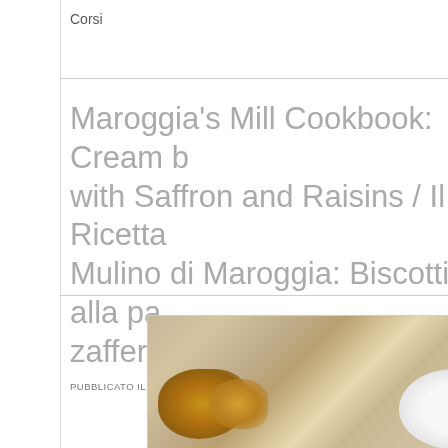Corsi
Maroggia's Mill Cookbook: Cream with Saffron and Raisins / Il Ricetta Mulino di Maroggia: Biscotti alla pa zafferano e uvette
PUBBLICATO IL 21 MARZO 2014 DA RISE OF THE SOURDOUGH PREACHER
[Figure (photo): Close-up photo of golden/yellow baked goods (biscotti) on a white plate or surface, blurred background in warm beige tones]